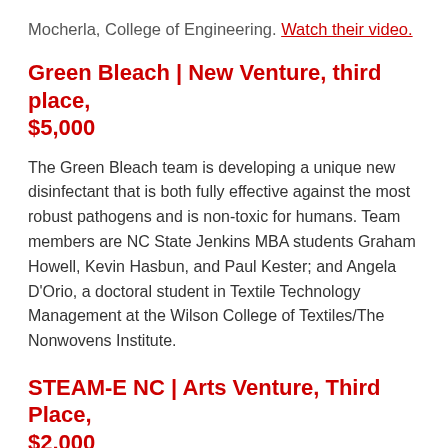Mocherla, College of Engineering. Watch their video.
Green Bleach | New Venture, third place, $5,000
The Green Bleach team is developing a unique new disinfectant that is both fully effective against the most robust pathogens and is non-toxic for humans. Team members are NC State Jenkins MBA students Graham Howell, Kevin Hasbun, and Paul Kester; and Angela D'Orio, a doctoral student in Textile Technology Management at the Wilson College of Textiles/The Nonwovens Institute.
STEAM-E NC | Arts Venture, Third Place, $2,000